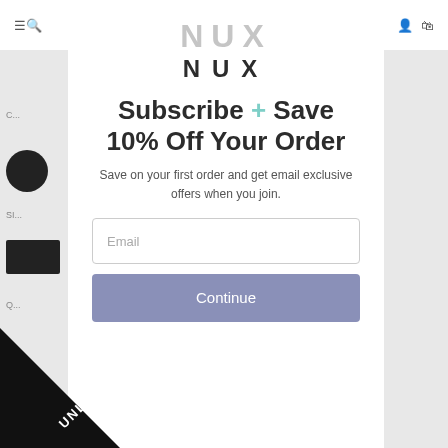[Figure (screenshot): NUX brand modal popup overlay on a website. The modal shows the NUX logo at the top, a headline reading 'Subscribe + Save 10% Off Your Order', supporting text, an email input field, a Continue button, and a diagonal 'UNLOCK OFFER' banner in the bottom-left corner.]
Subscribe + Save 10% Off Your Order
Save on your first order and get email exclusive offers when you join.
Email
Continue
UNLOCK OFFER